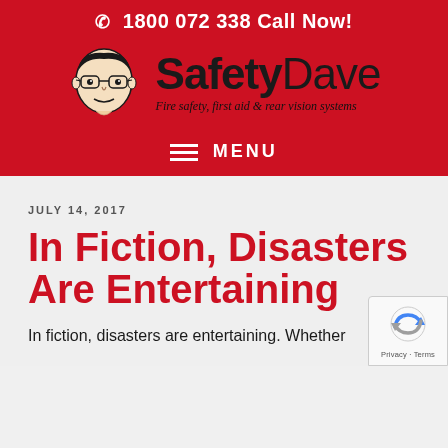☎ 1800 072 338 Call Now!
[Figure (logo): SafetyDave logo with illustrated face of a man wearing glasses, bold brand name 'SafetyDave' and tagline 'Fire safety, first aid & rear vision systems']
≡ MENU
JULY 14, 2017
In Fiction, Disasters Are Entertaining
In fiction, disasters are entertaining. Whether